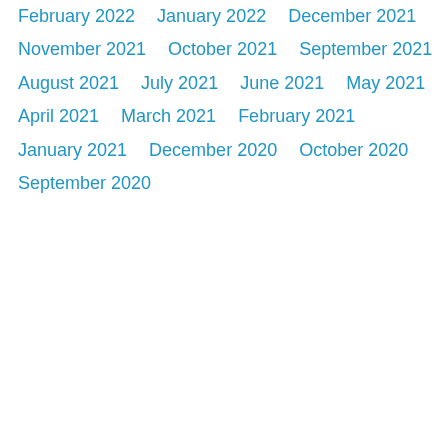February 2022
January 2022
December 2021
November 2021
October 2021
September 2021
August 2021
July 2021
June 2021
May 2021
April 2021
March 2021
February 2021
January 2021
December 2020
October 2020
September 2020